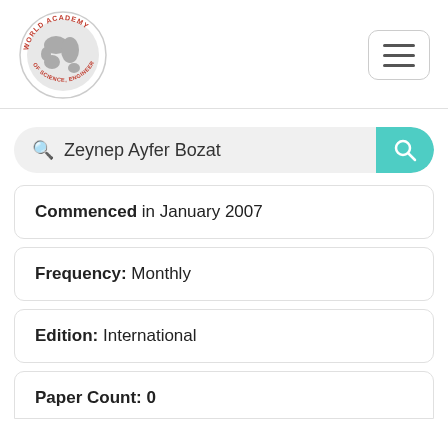[Figure (logo): World Academy of Science, Engineering and Technology circular logo with globe in center]
Zeynep Ayfer Bozat
Commenced in January 2007
Frequency: Monthly
Edition: International
Paper Count: 0